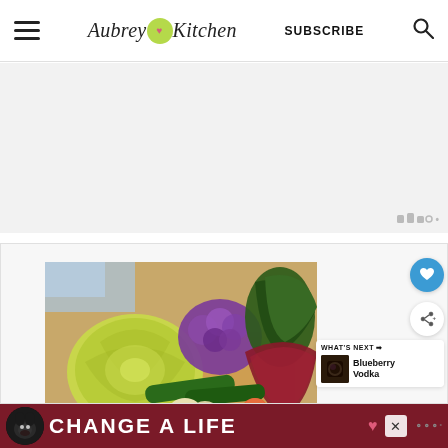Aubreys Kitchen — SUBSCRIBE
[Figure (photo): Advertisement placeholder area (gray background)]
[Figure (photo): Food blog content card with photo of assorted vegetables including cabbage, purple cauliflower, greens, cucumbers, onions, apple on a wooden cutting board]
[Figure (other): What's Next: Blueberry Vodka promotional widget with thumbnail]
[Figure (other): Bottom advertisement banner: Change A Life with dog image]